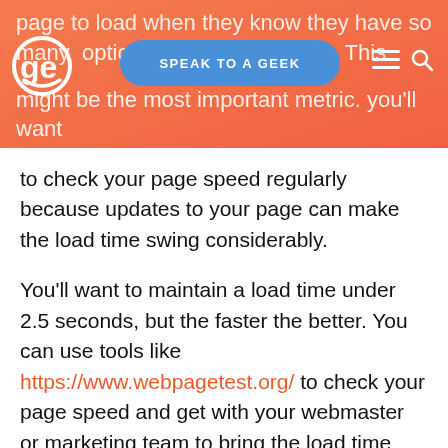page to load when they know they have so many options that w... page. This might be the most important metric. you'll want
to check your page speed regularly because updates to your page can make the load time swing considerably.
You'll want to maintain a load time under 2.5 seconds, but the faster the better. You can use tools like https://www.webpagetest.org/ to check your page speed and get with your webmaster or marketing team to bring the load time down. Remember, video and other flashy items will affect speed, so you can't always have your flashy and your fast too. It is a balancing act.